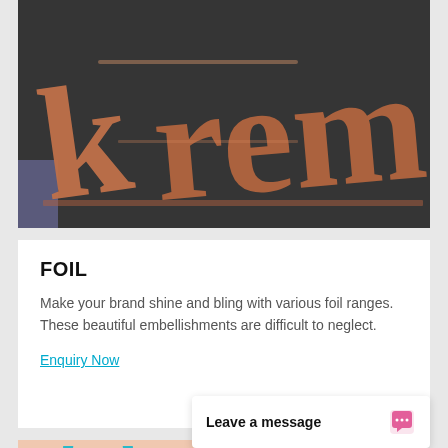[Figure (photo): Close-up photo of a dark textured book or card cover with embossed copper/rose-gold foil lettering spelling 'krem' or similar text, on a dark charcoal background.]
FOIL
Make your brand shine and bling with various foil ranges. These beautiful embellishments are difficult to neglect.
Enquiry Now
[Figure (photo): Partial view of a light pink/peach background with a blue circular logo or design element visible.]
Leave a message